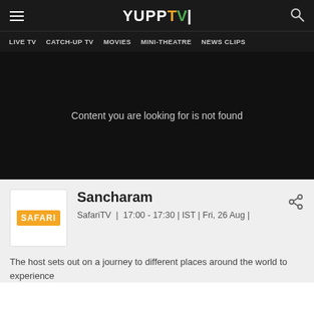YUPP TV — LIVE TV | CATCH-UP TV | MOVIES | MINI-THEATRE | NEWS CLIPS
[Figure (screenshot): Dark video player area showing error message: Content you are looking for is not found]
Content you are looking for is not found
[Figure (logo): Safari TV channel logo badge with orange background]
Sancharam
SafariTV | 17:00 - 17:30 | IST | Fri, 26 Aug |
The host sets out on a journey to different places around the world to experience